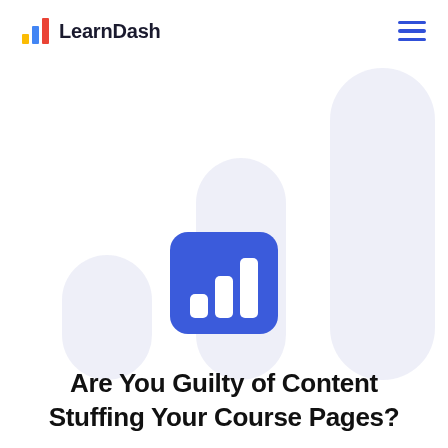LearnDash
[Figure (logo): LearnDash bar-chart logo with blue, yellow, and orange bars, followed by 'LearnDash' text in dark, and a hamburger menu icon in blue on the right]
[Figure (logo): LearnDash rounded-square icon with three white bar-chart bars on a blue background, centered on the page over decorative light-lavender large bar shapes]
Are You Guilty of Content Stuffing Your Course Pages?